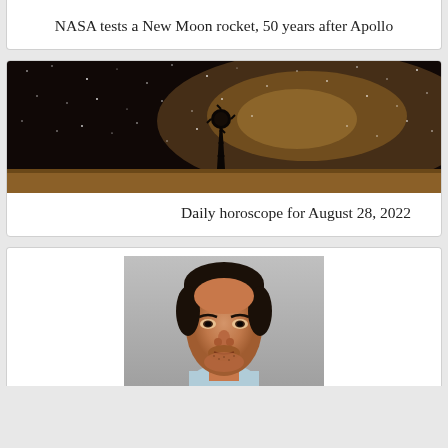[Figure (photo): Partially visible photo at top of page - appears to be NASA rocket related image, cropped]
NASA tests a New Moon rocket, 50 years after Apollo
[Figure (photo): Night sky photo showing the Milky Way galaxy above a silhouetted windmill on flat terrain]
Daily horoscope for August 28, 2022
[Figure (photo): Mugshot photo of a young man with dark hair and stubble, wearing a light blue shirt, gray background]